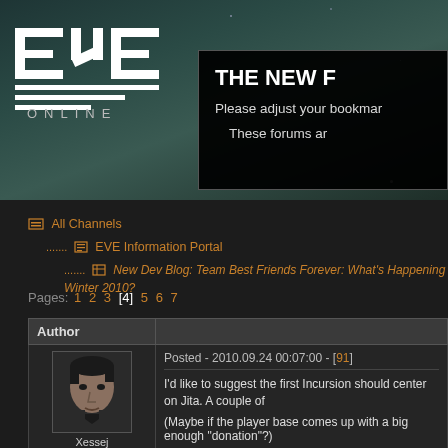[Figure (screenshot): EVE Online logo with horizontal bar design, white text on dark teal background]
THE NEW F
Please adjust your bookmar
These forums ar
All Channels > EVE Information Portal > New Dev Blog: Team Best Friends Forever: What's Happening Winter 2010?
Pages: 1 2 3 [4] 5 6 7
| Author | Post |
| --- | --- |
| Xessej | Posted - 2010.09.24 00:07:00 - [91]
I'd like to suggest the first Incursion should center on Jita. A couple of
(Maybe if the player base comes up with a big enough "donation"?) |
|  | Posted - 2010.09.24 00:32:00 - [92] |